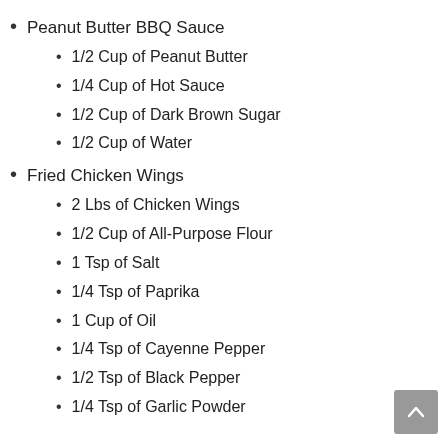Peanut Butter BBQ Sauce
1/2 Cup of Peanut Butter
1/4 Cup of Hot Sauce
1/2 Cup of Dark Brown Sugar
1/2 Cup of Water
Fried Chicken Wings
2 Lbs of Chicken Wings
1/2 Cup of All-Purpose Flour
1 Tsp of Salt
1/4 Tsp of Paprika
1 Cup of Oil
1/4 Tsp of Cayenne Pepper
1/2 Tsp of Black Pepper
1/4 Tsp of Garlic Powder